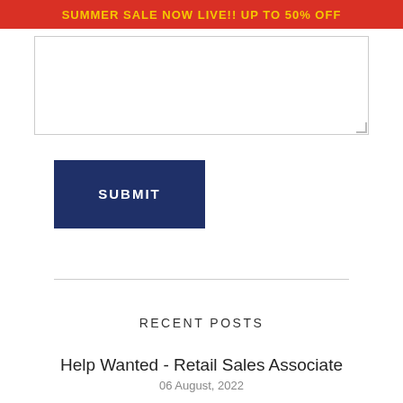SUMMER SALE NOW LIVE!! UP TO 50% OFF
[Figure (screenshot): A textarea input box with a resize handle in the bottom-right corner]
SUBMIT
RECENT POSTS
Help Wanted - Retail Sales Associate
06 August, 2022